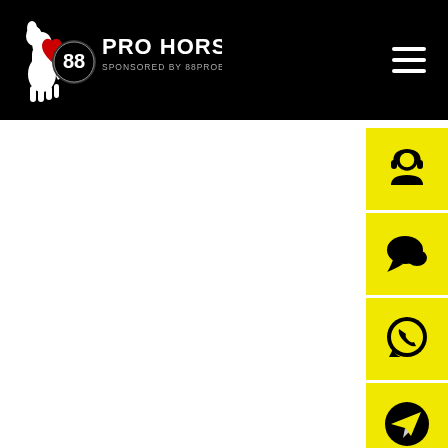[Figure (logo): 88 Pro Horse logo with horse silhouette, red heart, number 88, text PRO HORSE and SPONSORED BY 88PROBET on black background]
[Figure (other): Hamburger menu icon (three horizontal white lines) on black background, top right]
[Figure (other): Yellow sidebar buttons with black icons: customer support headset person, chat bubble, WhatsApp icon, Telegram icon, phone icon]